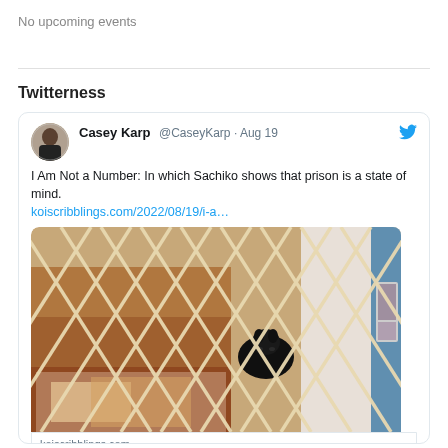No upcoming events
Twitterness
[Figure (screenshot): Embedded tweet from Casey Karp (@CaseyKarp) dated Aug 19 with text 'I Am Not a Number: In which Sachiko shows that prison is a state of mind.' with link koiscribblings.com/2022/08/19/i-a... and photo of a black cat behind a diamond-lattice wooden gate/fence, with a link preview showing koiscribblings.com and title 'I Am Not a Number']